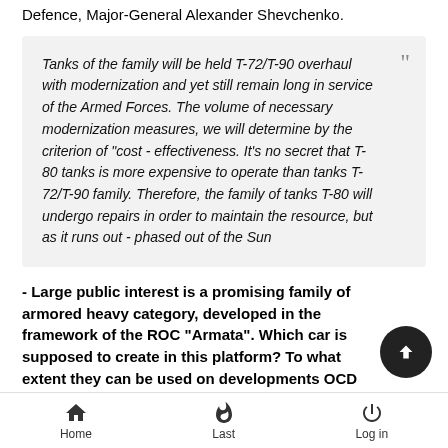Defence, Major-General Alexander Shevchenko.
Tanks of the family will be held T-72/T-90 overhaul with modernization and yet still remain long in service of the Armed Forces. The volume of necessary modernization measures, we will determine by the criterion of "cost - effectiveness. It's no secret that T-80 tanks is more expensive to operate than tanks T-72/T-90 family. Therefore, the family of tanks T-80 will undergo repairs in order to maintain the resource, but as it runs out - phased out of the Sun
- Large public interest is a promising family of armored heavy category, developed in the framework of the ROC "Armata". Which car is supposed to create in this platform? To what extent they can be used on developments OCD
Home  Last  Log in